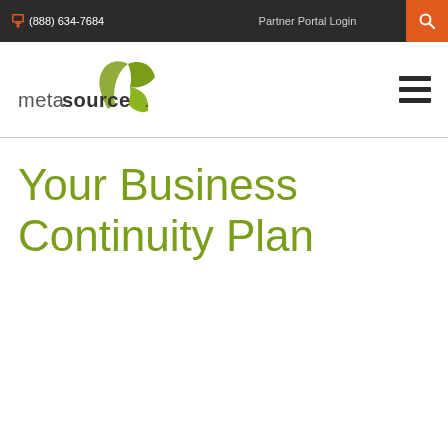(888) 634-7684    Partner Portal Login
[Figure (logo): MetaSource logo with green leaf/wing icon and 'metasource.' text in gray]
Your Business Continuity Plan